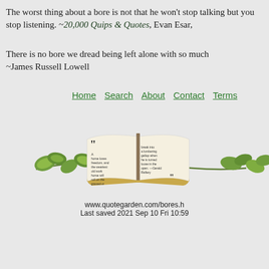The worst thing about a bore is not that he won't stop talking but that you stop listening. ~20,000 Quips & Quotes, Evan Esar,
There is no bore we dread being left alone with so much as ourselves. ~James Russell Lowell
Home
Search
About
Contact
Terms
[Figure (illustration): An open book with a quote text surrounded by ivy/vine leaves decoration. The book contains a quote about a horse loving freedom.]
www.quotegarden.com/bores.h... Last saved 2021 Sep 10 Fri 10:59